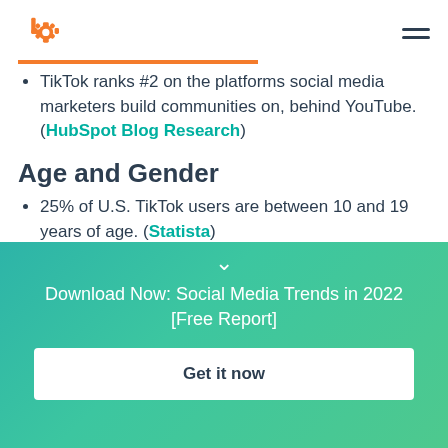HubSpot logo and navigation menu
TikTok ranks #2 on the platforms social media marketers build communities on, behind YouTube. (HubSpot Blog Research)
Age and Gender
25% of U.S. TikTok users are between 10 and 19 years of age. (Statista)
[Figure (infographic): Teal/green gradient banner with chevron down arrow, text 'Download Now: Social Media Trends in 2022 [Free Report]' and a white 'Get it now' button]
Download Now: Social Media Trends in 2022 [Free Report]
Get it now